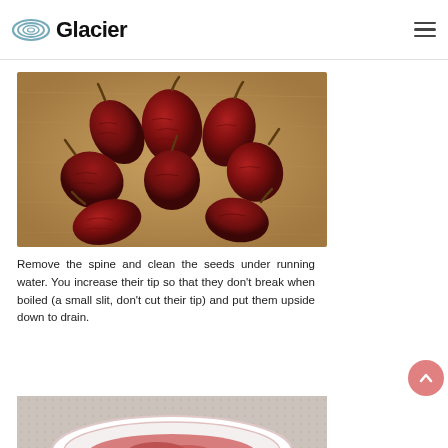Glacier
[Figure (photo): Dried red chili peppers (wrinkled, dark red) scattered on a wooden cutting board surface]
Remove the spine and clean the seeds under running water. You increase their tip so that they don't break when boiled (a small slit, don't cut their tip) and put them upside down to drain.
[Figure (photo): Partial view of food being prepared, bottom of page]